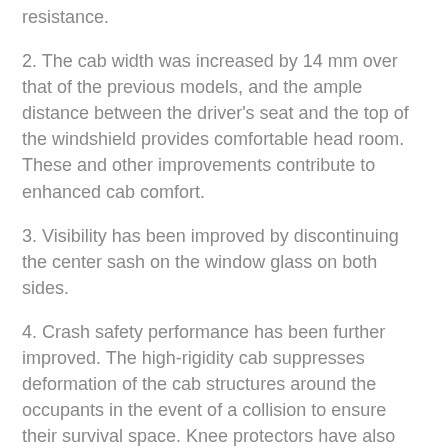resistance.
2. The cab width was increased by 14 mm over that of the previous models, and the ample distance between the driver's seat and the top of the windshield provides comfortable head room. These and other improvements contribute to enhanced cab comfort.
3. Visibility has been improved by discontinuing the center sash on the window glass on both sides.
4. Crash safety performance has been further improved. The high-rigidity cab suppresses deformation of the cab structures around the occupants in the event of a collision to ensure their survival space. Knee protectors have also been newly adopted to reduce the impact to the knees and thighs.
(3) Adoption of newly developed GH7 engine
1. The fuel economy of the engine itself has been improved by adopting a newly developed common rail system that